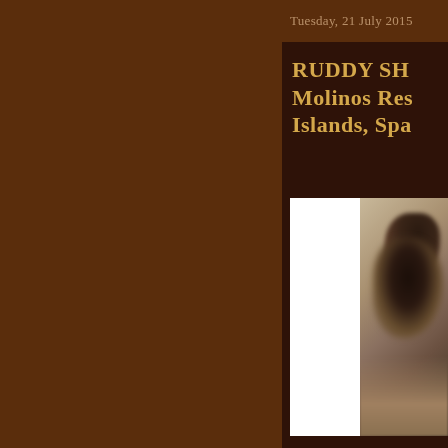Tuesday, 21 July 2015
RUDDY SH... Molinos Res... Islands, Spa...
[Figure (photo): A blurry photograph showing what appears to be a shorebird (Ruddy Shelduck or similar) on a sandy/rocky ground. The image is partially cropped on the right side of the page, with a white vertical bar on the left portion of the photo frame.]